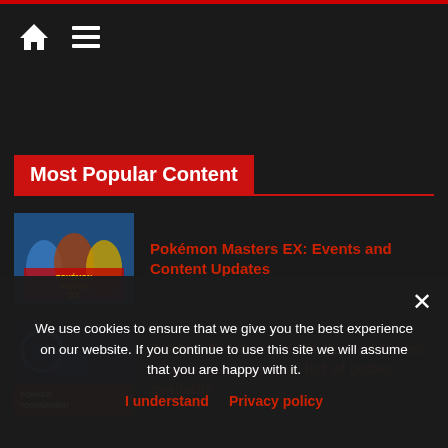Navigation bar with home icon and hamburger menu
Most Popular Content
Pokémon Masters EX: Events and Content Updates
Pokkén Tournament DX Special Codes: all you need to know, list of codes available
We use cookies to ensure that we give you the best experience on our website. If you continue to use this site we will assume that you are happy with it.
I understand  Privacy policy